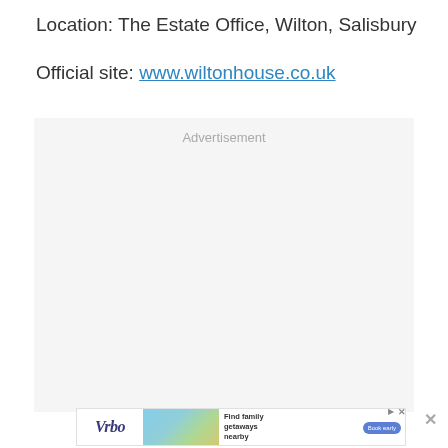Location: The Estate Office, Wilton, Salisbury
Official site: www.wiltonhouse.co.uk
[Figure (other): Advertisement placeholder box with light grey background and 'Advertisement' label text centered at top]
[Figure (other): Vrbo advertisement banner: Vrbo logo, beach house image, 'Find family getaways nearby' text, 'Book early' button, close/arrow icons]